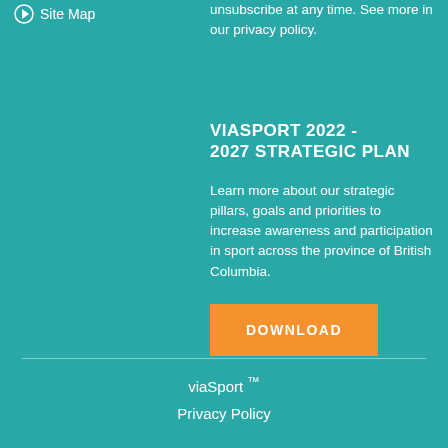Site Map
unsubscribe at any time. See more in our privacy policy.
VIASPORT 2022 - 2027 STRATEGIC PLAN
Learn more about our strategic pillars, goals and priorities to increase awareness and participation in sport across the province of British Columbia.
DOWNLOAD
viaSport ™
Privacy Policy